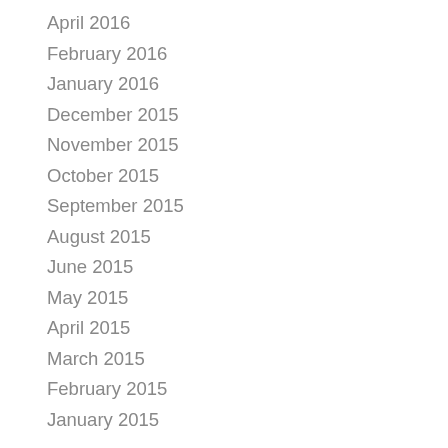April 2016
February 2016
January 2016
December 2015
November 2015
October 2015
September 2015
August 2015
June 2015
May 2015
April 2015
March 2015
February 2015
January 2015